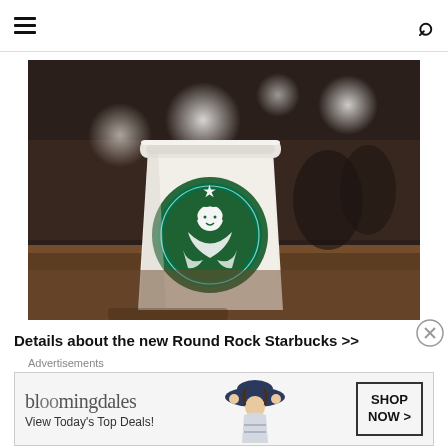Navigation bar with hamburger menu and search icon
[Figure (photo): A white Starbucks disposable cup with green Starbucks siren logo sitting on a wooden counter in a coffee shop, with blurred bokeh lights and people in the background.]
Details about the new Round Rock Starbucks >>
[Figure (other): Bloomingdales advertisement banner: 'bloomingdales / View Today's Top Deals!' with a woman in a wide-brim hat and a 'SHOP NOW >' button.]